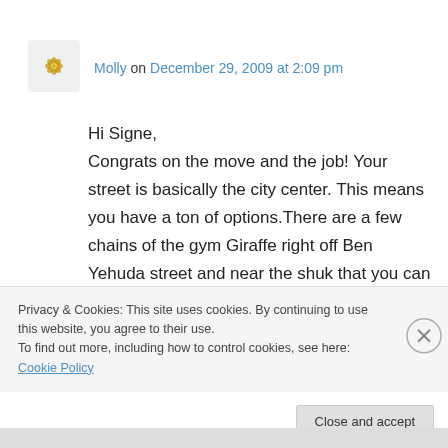Molly on December 29, 2009 at 2:09 pm
Hi Signe,
Congrats on the move and the job! Your street is basically the city center. This means you have a ton of options.There are a few chains of the gym Giraffe right off Ben Yehuda street and near the shuk that you can try out. Also, the YMCA is near you and has a pool. Unfortunately the Emek Refaim pool is being closed down at the end of
Privacy & Cookies: This site uses cookies. By continuing to use this website, you agree to their use.
To find out more, including how to control cookies, see here: Cookie Policy
Close and accept